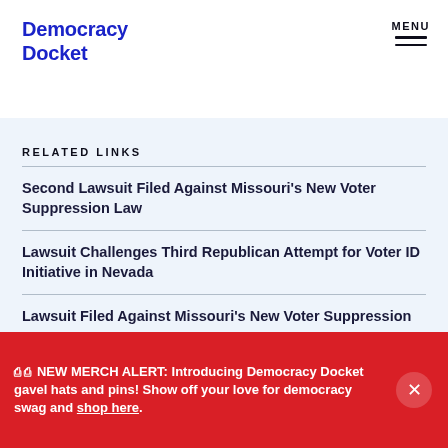Democracy Docket
RELATED LINKS
Second Lawsuit Filed Against Missouri's New Voter Suppression Law
Lawsuit Challenges Third Republican Attempt for Voter ID Initiative in Nevada
Lawsuit Filed Against Missouri's New Voter Suppression
🏛️ 🏛️ NEW MERCH ALERT: Introducing Democracy Docket gavel hats and pins! Show off your love for democracy swag and shop here.